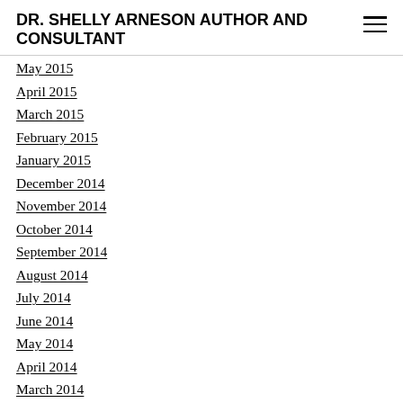DR. SHELLY ARNESON AUTHOR AND CONSULTANT
May 2015
April 2015
March 2015
February 2015
January 2015
December 2014
November 2014
October 2014
September 2014
August 2014
July 2014
June 2014
May 2014
April 2014
March 2014
February 2014